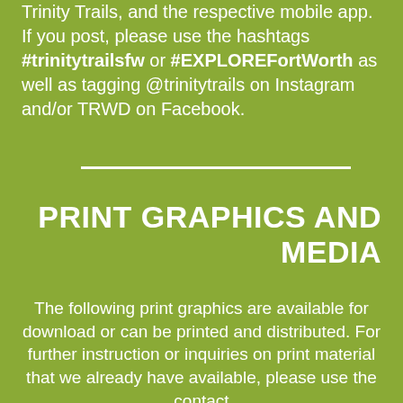Trinity Trails, and the respective mobile app. If you post, please use the hashtags #trinitytrailsfw or #EXPLOREFortWorth as well as tagging @trinitytrails on Instagram and/or TRWD on Facebook.
PRINT GRAPHICS AND MEDIA
The following print graphics are available for download or can be printed and distributed. For further instruction or inquiries on print material that we already have available, please use the contact